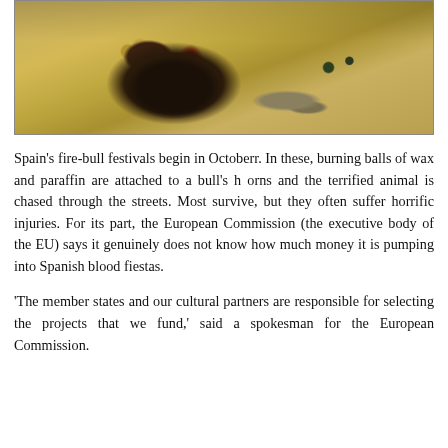[Figure (photo): A wounded black bull lying on dry dusty ground, bleeding from its head near the horns. Sandy, arid terrain with sparse dry vegetation visible in the background.]
Spain's fire-bull festivals begin in Octoberr. In these, burning balls of wax and paraffin are attached to a bull's h orns and the terrified animal is chased through the streets. Most survive, but they often suffer horrific injuries. For its part, the European Commission (the executive body of the EU) says it genuinely does not know how much money it is pumping into Spanish blood fiestas.
'The member states and our cultural partners are responsible for selecting the projects that we fund,' said a spokesman for the European Commission.